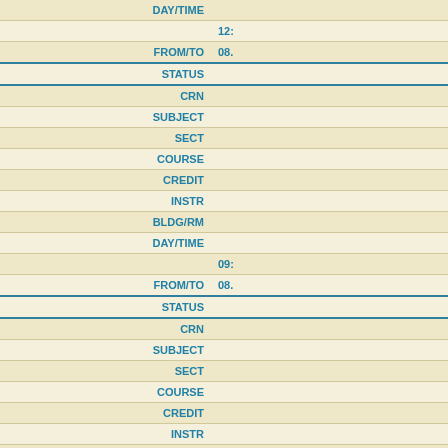| Field | Value |
| --- | --- |
| DAY/TIME | 12:... |
| FROM/TO | 08:... |
| STATUS |  |
| CRN |  |
| SUBJECT |  |
| SECT |  |
| COURSE |  |
| CREDIT |  |
| INSTR |  |
| BLDG/RM |  |
| DAY/TIME | 09:... |
| FROM/TO | 08:... |
| STATUS |  |
| CRN |  |
| SUBJECT |  |
| SECT |  |
| COURSE |  |
| CREDIT |  |
| INSTR |  |
| BLDG/RM |  |
| DAY/TIME | 09:... |
| FROM/TO | 08:... |